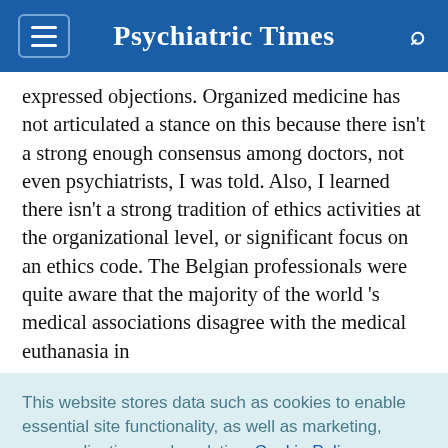Psychiatric Times
expressed objections. Organized medicine has not articulated a stance on this because there isn't a strong enough consensus among doctors, not even psychiatrists, I was told. Also, I learned there isn't a strong tradition of ethics activities at the organizational level, or significant focus on an ethics code. The Belgian professionals were quite aware that the majority of the world 's medical associations disagree with the medical euthanasia in
This website stores data such as cookies to enable essential site functionality, as well as marketing, personalization, and analytics. Cookie Policy
Accept
Deny